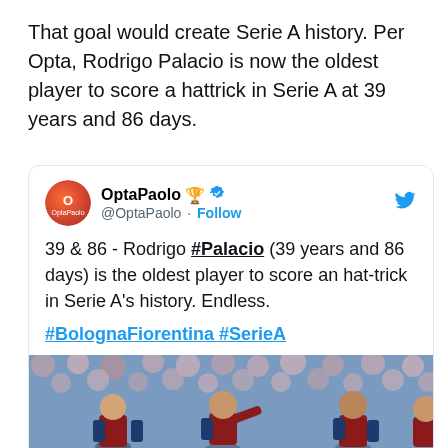That goal would create Serie A history. Per Opta, Rodrigo Palacio is now the oldest player to score a hattrick in Serie A at 39 years and 86 days.
[Figure (screenshot): Tweet from @OptaPaolo about Rodrigo Palacio scoring a hat-trick in Serie A at 39 years and 86 days, with a photo of football players on the pitch.]